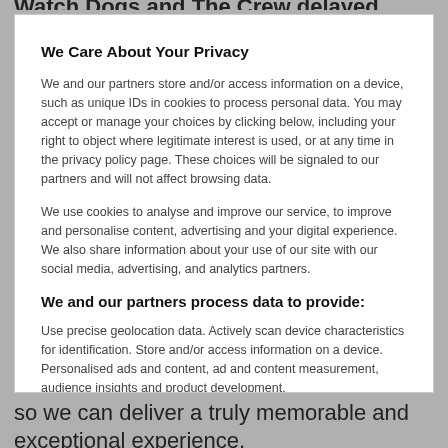Watch Dogs and The Crew delayed
We Care About Your Privacy
We and our partners store and/or access information on a device, such as unique IDs in cookies to process personal data. You may accept or manage your choices by clicking below, including your right to object where legitimate interest is used, or at any time in the privacy policy page. These choices will be signaled to our partners and will not affect browsing data.
We use cookies to analyse and improve our service, to improve and personalise content, advertising and your digital experience. We also share information about your use of our site with our social media, advertising, and analytics partners.
We and our partners process data to provide:
Use precise geolocation data. Actively scan device characteristics for identification. Store and/or access information on a device. Personalised ads and content, ad and content measurement, audience insights and product development.
List of Partners (vendors)
so we can deliver a truly memorable and exceptional experience.